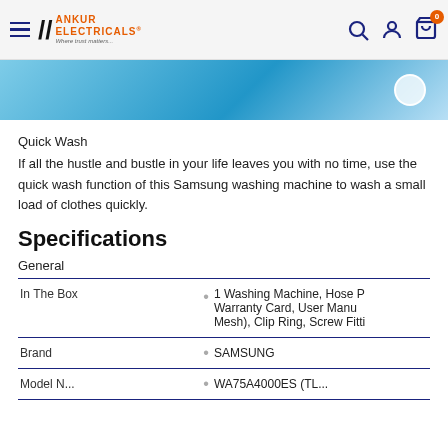Ankur Electricals — Where trust matters
[Figure (photo): Product image banner — blue washing machine close-up with white circular Samsung logo]
Quick Wash
If all the hustle and bustle in your life leaves you with no time, use the quick wash function of this Samsung washing machine to wash a small load of clothes quickly.
Specifications
General
|  |  |
| --- | --- |
| In The Box | 1 Washing Machine, Hose Pipe, Warranty Card, User Manual, Filter (Mesh), Clip Ring, Screw Fitti... |
| Brand | SAMSUNG |
| Model N... | WA75A4000ES (TL... |